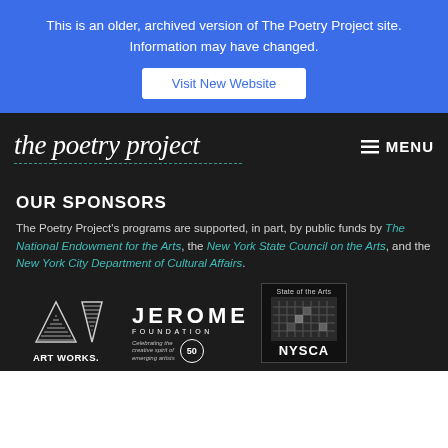This is an older, archived version of The Poetry Project site. Information may have changed.
Visit New Website
[Figure (logo): The Poetry Project cursive logo with dashed teal underline]
MENU
OUR SPONSORS
The Poetry Project's programs are supported, in part, by public funds by The National Endowment for the Arts, the New York State Council on the Arts, and the New York City Department of Cultural Affairs.
[Figure (logo): NEA Art Works logo with triangle icons]
[Figure (logo): Jerome Foundation 50 years logo]
[Figure (logo): NYSCA State of the Arts logo]